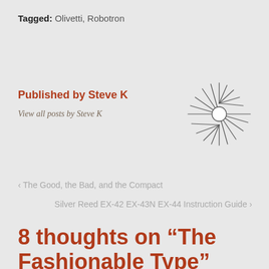Tagged: Olivetti, Robotron
Published by Steve K
View all posts by Steve K
[Figure (illustration): A decorative sunflower/starburst line drawing with radiating petals and a circular center]
‹ The Good, the Bad, and the Compact
Silver Reed EX-42 EX-43N EX-44 Instruction Guide ›
8 thoughts on “The Fashionable Type”